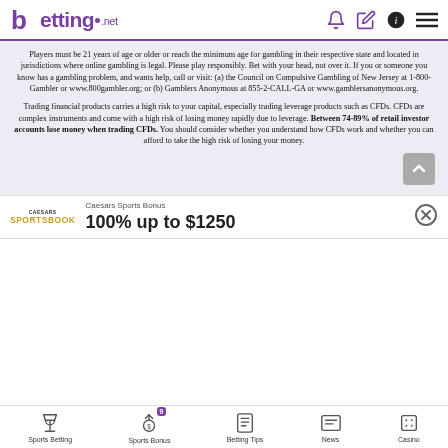betting.net
Players must be 21 years of age or older or reach the minimum age for gambling in their respective state and located in jurisdictions where online gambling is legal. Please play responsibly. Bet with your head, not over it. If you or someone you know has a gambling problem, and wants help, call or visit: (a) the Council on Compulsive Gambling of New Jersey at 1-800-Gambler or www.800gambler.org; or (b) Gamblers Anonymous at 855-2-CALL-GA or www.gamblersanonymous.org.
Trading financial products carries a high risk to your capital, especially trading leverage products such as CFDs. CFDs are complex instruments and come with a high risk of losing money rapidly due to leverage. Between 74-89% of retail investor accounts lose money when trading CFDs. You should consider whether you understand how CFDs work and whether you can afford to take the high risk of losing your money.
Caesars Sports Bonus
100% up to $1250
Sports Betting | Sports Bonus 9 | Betting Tips | News | Casino